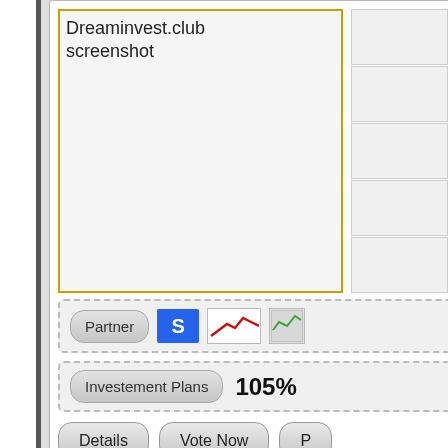[Figure (screenshot): Dreaminvest.club website screenshot placeholder with yellow border]
Dreaminvest.club screenshot
[Figure (screenshot): Partner icons row including S logo (blue), chart logo, and image icon with dashed border]
Partner   105%
Investement Plans   105%
Details   Vote Now   P
DONGCOINS.COM
[Figure (screenshot): DONGCOINS.COM website screenshot placeholder with yellow border]
DONGCOINS.COM screenshot